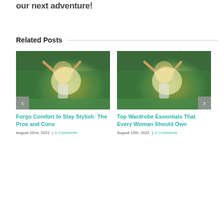our next adventure!
Related Posts
[Figure (photo): Woman with arms raised outdoors with sunlight behind her, green field background]
Forgo Comfort to Stay Stylish: The Pros and Cons
August 22nd, 2022  |  0 Comments
[Figure (photo): Woman with arms raised outdoors with sunlight behind her, green field background]
Top Wardrobe Essentials That Every Woman Should Own
August 12th, 2022  |  0 Comments